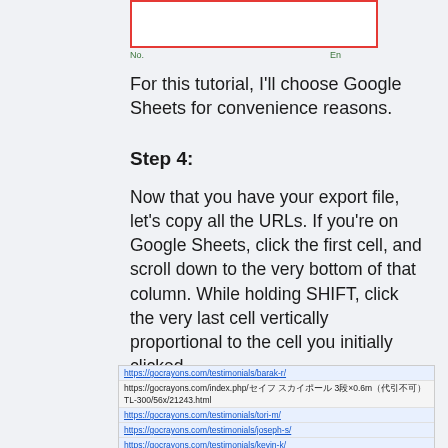[Figure (screenshot): Top portion of a spreadsheet screenshot with a red rectangle border highlighting a cell area. Small green labels 'No.' and 'En' visible below.]
For this tutorial, I'll choose Google Sheets for convenience reasons.
Step 4:
Now that you have your export file, let's copy all the URLs. If you're on Google Sheets, click the first cell, and scroll down to the very bottom of that column. While holding SHIFT, click the very last cell vertically proportional to the cell you initially clicked.
[Figure (screenshot): Screenshot of a spreadsheet column showing URLs: https://gocrayons.com/testimonials/barak-r/ (highlighted), https://gocrayons.com/index.php/セイフスカイポール3段×0.6m（代引不可）TL-300/56x/21243.html, https://gocrayons.com/testimonials/tori-m/, https://gocrayons.com/testimonials/joseph-s/, https://gocrayons.com/testimonials/kevin-k/, and more partially visible rows.]